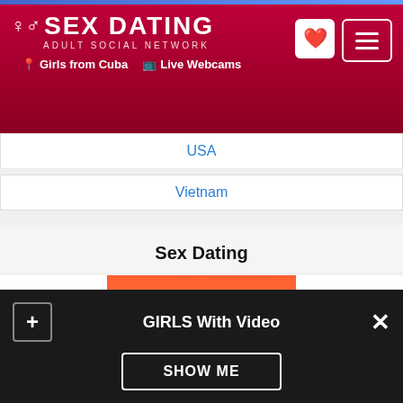SEX DATING — Adult Social Network | Girls from Cuba | Live Webcams
USA
Vietnam
Sex Dating
[Figure (advertisement): MeEndo adult dating advertisement banner with logo on orange/red gradient background]
GIRLS With Video — SHOW ME